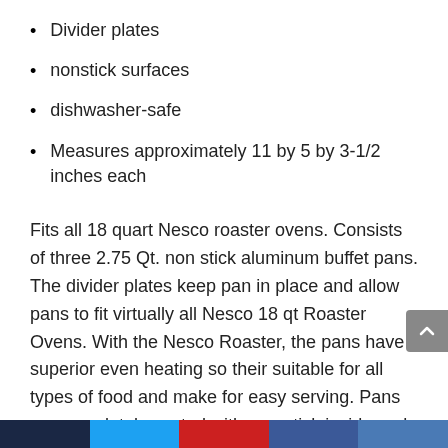Divider plates
nonstick surfaces
dishwasher-safe
Measures approximately 11 by 5 by 3-1/2 inches each
Fits all 18 quart Nesco roaster ovens. Consists of three 2.75 Qt. non stick aluminum buffet pans. The divider plates keep pan in place and allow pans to fit virtually all Nesco 18 qt Roaster Ovens. With the Nesco Roaster, the pans have superior even heating so their suitable for all types of food and make for easy serving. Pans are completely coated with non-stick inside and out for super easy cleaning and all pieces are dishwasher safe.